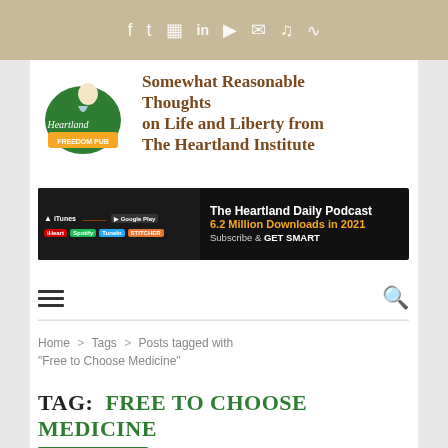Social media icons: Facebook, Twitter, Instagram, LinkedIn, YouTube, Email, SoundCloud, RSS
[Figure (logo): Heartland Freedom Pub logo with illustrated figure and green badge]
Somewhat Reasonable Thoughts on Life and Liberty from The Heartland Institute
[Figure (infographic): The Heartland Daily Podcast banner - 6.2 Million Downloads in 2021 - Subscribe & GET SMART]
[Figure (other): Hamburger menu icon and search icon navigation bar]
Home > Tags > Posts tagged with "Free to Choose Medicine"
TAG:  FREE TO CHOOSE MEDICINE